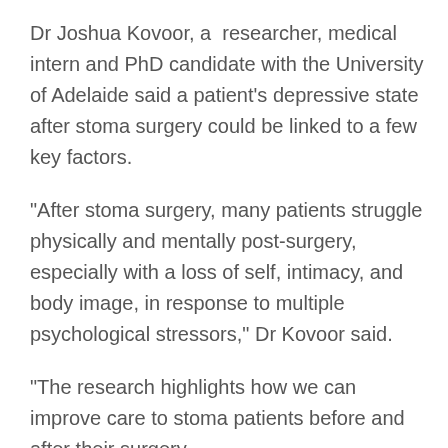Dr Joshua Kovoor, a researcher, medical intern and PhD candidate with the University of Adelaide said a patient’s depressive state after stoma surgery could be linked to a few key factors.
“After stoma surgery, many patients struggle physically and mentally post-surgery, especially with a loss of self, intimacy, and body image, in response to multiple psychological stressors,” Dr Kovoor said.
“The research highlights how we can improve care to stoma patients before and after their surgery.
“Stoma patients at risk of developing depressive